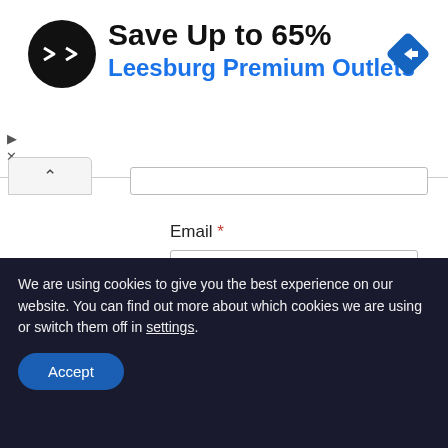[Figure (infographic): Advertisement banner: circular black logo with double arrows, 'Save Up to 65%' in bold, 'Leesburg Premium Outlets' in blue, blue diamond navigation icon on right. Play and close controls on left.]
Email *
Save my name, email, and website in this browser for the next time I comment.
Post Comment
We are using cookies to give you the best experience on our website. You can find out more about which cookies we are using or switch them off in settings.
Accept